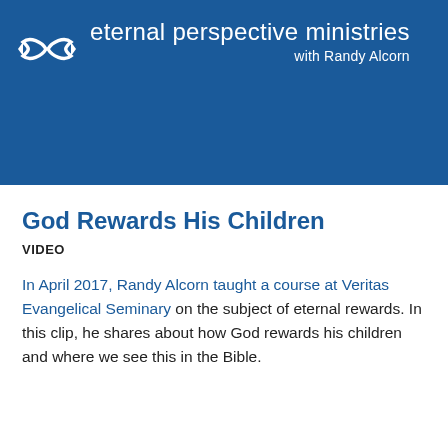[Figure (logo): Eternal Perspective Ministries logo with fish symbol and organization name 'eternal perspective ministries with Randy Alcorn' on blue banner background]
God Rewards His Children
VIDEO
In April 2017, Randy Alcorn taught a course at Veritas Evangelical Seminary on the subject of eternal rewards. In this clip, he shares about how God rewards his children and where we see this in the Bible.